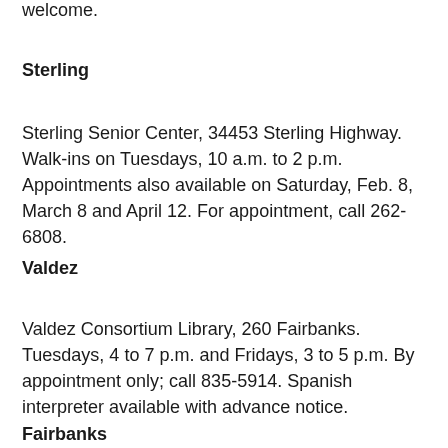welcome.
Sterling
Sterling Senior Center, 34453 Sterling Highway. Walk-ins on Tuesdays, 10 a.m. to 2 p.m. Appointments also available on Saturday, Feb. 8, March 8 and April 12. For appointment, call 262-6808.
Valdez
Valdez Consortium Library, 260 Fairbanks. Tuesdays, 4 to 7 p.m. and Fridays, 3 to 5 p.m. By appointment only; call 835-5914. Spanish interpreter available with advance notice.
Fairbanks